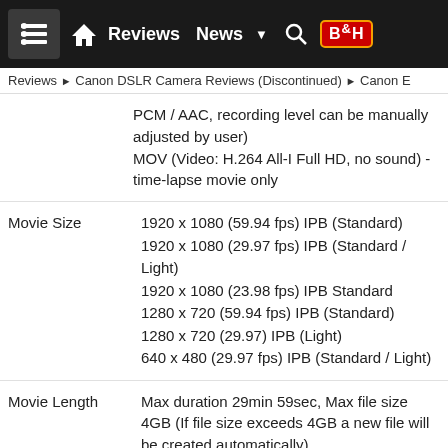Reviews | News | B&H
Reviews ▶ Canon DSLR Camera Reviews (Discontinued) ▶ Canon E
PCM / AAC, recording level can be manually adjusted by user)
MOV (Video: H.264 All-I Full HD, no sound) - time-lapse movie only
| Feature | Details |
| --- | --- |
| Movie Size | 1920 x 1080 (59.94 fps) IPB (Standard)
1920 x 1080 (29.97 fps) IPB (Standard / Light)
1920 x 1080 (23.98 fps) IPB Standard
1280 x 720 (59.94 fps) IPB (Standard)
1280 x 720 (29.97) IPB (Light)
640 x 480 (29.97 fps) IPB (Standard / Light) |
| Movie Length | Max duration 29min 59sec, Max file size 4GB (If file size exceeds 4GB a new file will be created automatically) |
Other Information
| Feature | Details |
| --- | --- |
| Wireless Features | Built-in Wi-Fi, NFC and Bluetooth |